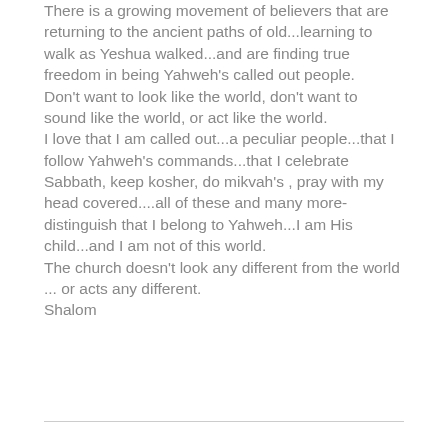There is a growing movement of believers that are returning to the ancient paths of old...learning to walk as Yeshua walked...and are finding true freedom in being Yahweh's called out people.
Don't want to look like the world, don't want to sound like the world, or act like the world.
I love that I am called out...a peculiar people...that I follow Yahweh's commands...that I celebrate Sabbath, keep kosher, do mikvah's , pray with my head covered....all of these and many more- distinguish that I belong to Yahweh...I am His child...and I am not of this world.
The church doesn't look any different from the world ... or acts any different.
Shalom